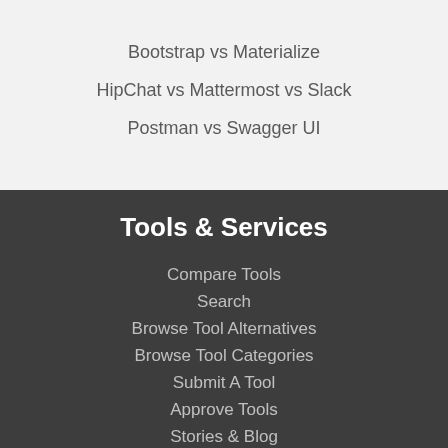Bootstrap vs Materialize
HipChat vs Mattermost vs Slack
Postman vs Swagger UI
Tools & Services
Compare Tools
Search
Browse Tool Alternatives
Browse Tool Categories
Submit A Tool
Approve Tools
Stories & Blog